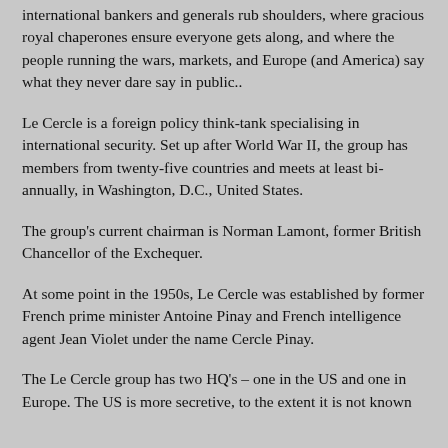international bankers and generals rub shoulders, where gracious royal chaperones ensure everyone gets along, and where the people running the wars, markets, and Europe (and America) say what they never dare say in public..
Le Cercle is a foreign policy think-tank specialising in international security. Set up after World War II, the group has members from twenty-five countries and meets at least bi-annually, in Washington, D.C., United States.
The group's current chairman is Norman Lamont, former British Chancellor of the Exchequer.
At some point in the 1950s, Le Cercle was established by former French prime minister Antoine Pinay and French intelligence agent Jean Violet under the name Cercle Pinay.
The Le Cercle group has two HQ's – one in the US and one in Europe. The US is more secretive, to the extent it is not known